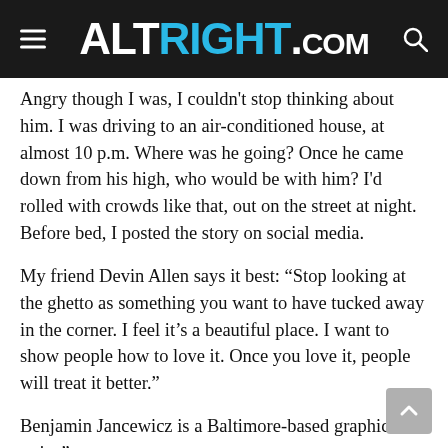ALTRIGHT.COM
Angry though I was, I couldn't stop thinking about him. I was driving to an air-conditioned house, at almost 10 p.m. Where was he going? Once he came down from his high, who would be with him? I'd rolled with crowds like that, out on the street at night. Before bed, I posted the story on social media.
My friend Devin Allen says it best: “Stop looking at the ghetto as something you want to have tucked away in the corner. I feel it’s a beautiful place. I want to show people how to love it. Once you love it, people will treat it better.”
Benjamin Jancewicz is a Baltimore-based graphic artist.”